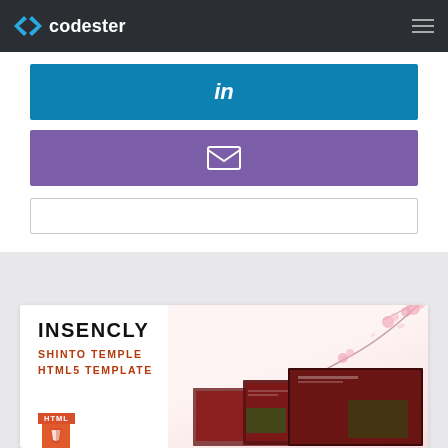codester
[Figure (screenshot): LinkedIn button (blue) and email/envelope button (purple) with a search box below, inside a white card]
[Figure (screenshot): Codester product listing card for 'INSENCLY - Shinto Temple HTML5 Template' showing product name, subtitle in orange-red, floral background decoration, and website screenshot collage with HTML badge]